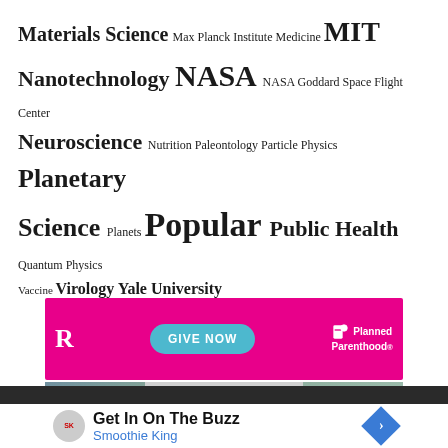Materials Science Max Planck Institute Medicine MIT Nanotechnology NASA NASA Goddard Space Flight Center Neuroscience Nutrition Paleontology Particle Physics Planetary Science Planets Popular Public Health Quantum Physics Vaccine Virology Yale University
[Figure (other): Planned Parenthood donation advertisement banner with magenta background, 'R' logo on left, cyan 'GIVE NOW' button in center, Planned Parenthood logo on right]
[Figure (other): Travel advertisement for sidestage.com featuring Yosemite landscape photos on left and right with text 'DISCOVER AMAZING TRAVEL SIDESTAGE.COM' in center]
[Figure (other): Smoothie King advertisement with logo, text 'Get In On The Buzz', 'Smoothie King' subtitle, and navigation arrow icon]